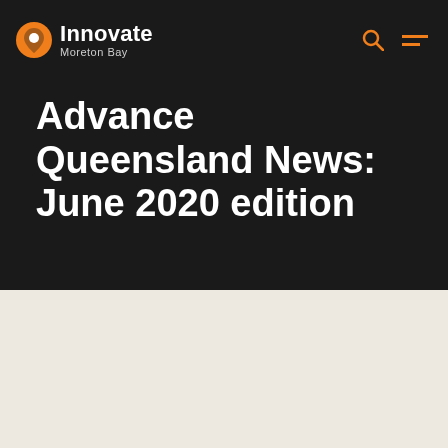Innovate Moreton Bay
Advance Queensland News: June 2020 edition
Welcome to Advance Queensland News: June 2020 edition
A message from Deputy Director-General Dr Craig...